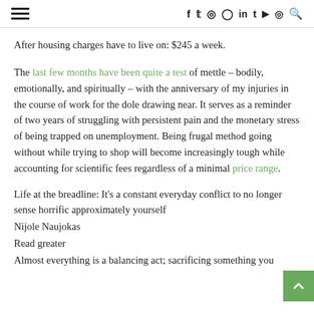≡  f  𝕏  📷  𝓟  in  t  ▶  👻  🔍
After housing charges have to live on: $245 a week.
The last few months have been quite a test of mettle – bodily, emotionally, and spiritually – with the anniversary of my injuries in the course of work for the dole drawing near. It serves as a reminder of two years of struggling with persistent pain and the monetary stress of being trapped on unemployment. Being frugal method going without while trying to shop will become increasingly tough while accounting for scientific fees regardless of a minimal price range.
Life at the breadline: It's a constant everyday conflict to no longer sense horrific approximately yourself
Nijole Naujokas
Read greater
Almost everything is a balancing act; sacrificing something you